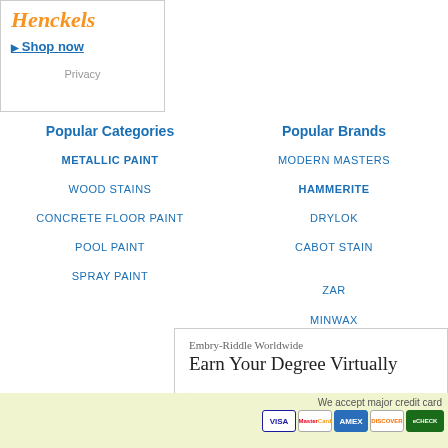[Figure (other): Zwilling J.A. Henckels advertisement box with brand name in orange italic text and 'Shop now' link, plus Privacy link at bottom]
Popular Categories
METALLIC PAINT
WOOD STAINS
CONCRETE FLOOR PAINT
POOL PAINT
SPRAY PAINT
Popular Brands
MODERN MASTERS
HAMMERITE
DRYLOK
CABOT STAIN
ZAR
MINWAX
[Figure (other): Embry-Riddle Worldwide advertisement: 'Earn Your Degree Virtually']
We accept major credit card
[Figure (other): Credit card icons: VISA, MasterCard, AMEX, DISCOVER, eCHECK]